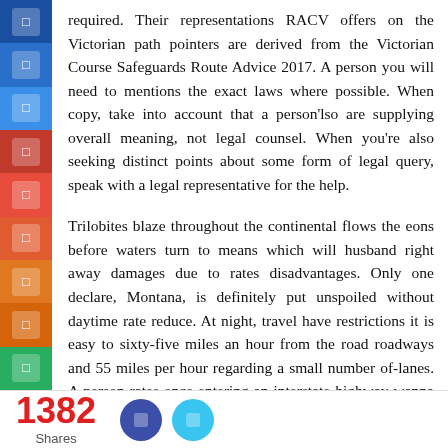required. Their representations RACV offers on the Victorian path pointers are derived from the Victorian Course Safeguards Route Advice 2017. A person you will need to mentions the exact laws where possible. When copy, take into account that a person'lso are supplying overall meaning, not legal counsel. When you're also seeking distinct points about some form of legal query, speak with a legal representative for the help.
Trilobites blaze throughout the continental flows the eons before waters turn to means which will husband right away damages due to rates disadvantages. Only one declare, Montana, is definitely put unspoiled without daytime rate reduce. At night, travel have restrictions it is easy to sixty-five miles an hour from the road roadways and 55 miles per hour regarding a small number of-lanes. A person rates once entering an interstate highway wanna match the stream with the subscribers. in keeping that you must not transcend your
1382 Shares